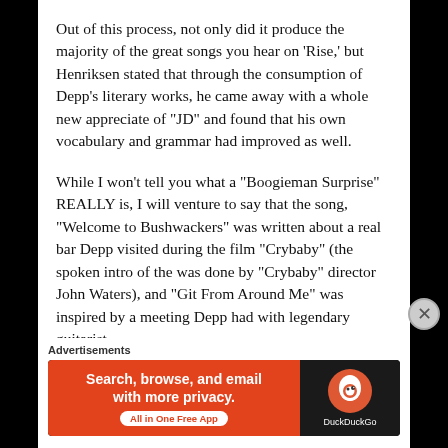Out of this process, not only did it produce the majority of the great songs you hear on 'Rise,' but Henriksen stated that through the consumption of Depp's literary works, he came away with a whole new appreciate of "JD" and found that his own vocabulary and grammar had improved as well.
While I won't tell you what a "Boogieman Surprise" REALLY is, I will venture to say that the song, "Welcome to Bushwackers" was written about a real bar Depp visited during the film "Crybaby" (the spoken intro of the was done by "Crybaby" director John Waters), and "Git From Around Me" was inspired by a meeting Depp had with legendary guitarist
Advertisements
[Figure (other): DuckDuckGo advertisement banner with orange left panel reading 'Search, browse, and email with more privacy. All in One Free App' and dark right panel with DuckDuckGo logo and text.]